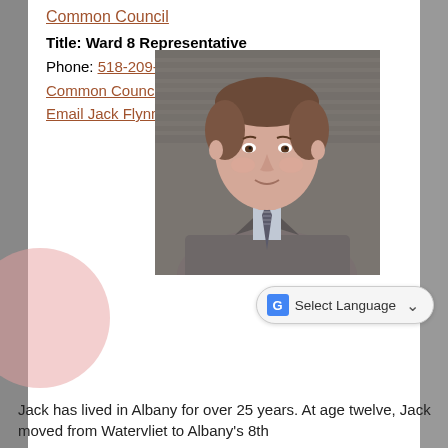Common Council
Title: Ward 8 Representative
Phone: 518-209-1975
Common Council Page
Email Jack Flynn
[Figure (photo): Professional headshot of Jack Flynn, a man in a grey blazer, light blue shirt, and striped tie, smiling slightly, photographed in front of a grey textured background.]
Select Language
Jack has lived in Albany for over 25 years. At age twelve, Jack moved from Watervliet to Albany's 8th